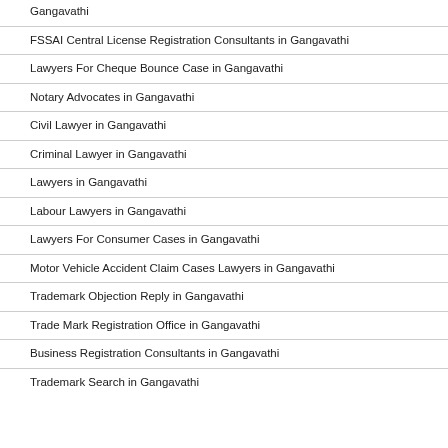Gangavathi
FSSAI Central License Registration Consultants in Gangavathi
Lawyers For Cheque Bounce Case in Gangavathi
Notary Advocates in Gangavathi
Civil Lawyer in Gangavathi
Criminal Lawyer in Gangavathi
Lawyers in Gangavathi
Labour Lawyers in Gangavathi
Lawyers For Consumer Cases in Gangavathi
Motor Vehicle Accident Claim Cases Lawyers in Gangavathi
Trademark Objection Reply in Gangavathi
Trade Mark Registration Office in Gangavathi
Business Registration Consultants in Gangavathi
Trademark Search in Gangavathi